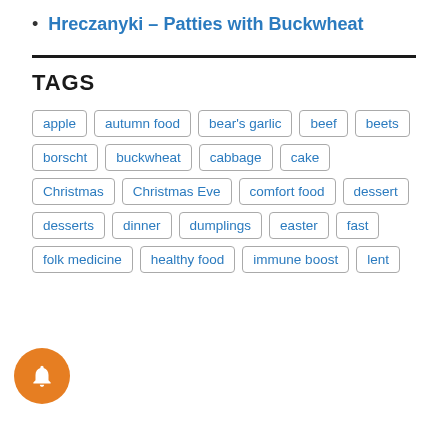Hreczanyki – Patties with Buckwheat
TAGS
apple autumn food bear's garlic beef beets borscht buckwheat cabbage cake Christmas Christmas Eve comfort food dessert desserts dinner dumplings easter fast folk medicine healthy food immune boost lent